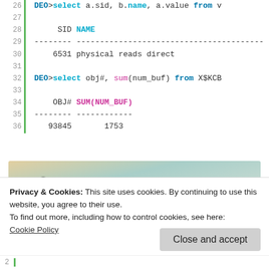26  DEO>select a.sid, b.name, a.value from v
27
28       SID  NAME
29  ---------------------------------------------------
30       6531 physical reads direct
31
32  DEO>select obj#, sum(num_buf) from X$KCB
33
34       OBJ#  SUM(NUM_BUF)
35  -------- ----------
36      93845       1753
[Figure (illustration): WordPress VIP advertisement banner with social media logos and Learn more button]
Privacy & Cookies: This site uses cookies. By continuing to use this website, you agree to their use.
To find out more, including how to control cookies, see here:
Cookie Policy
Close and accept
2